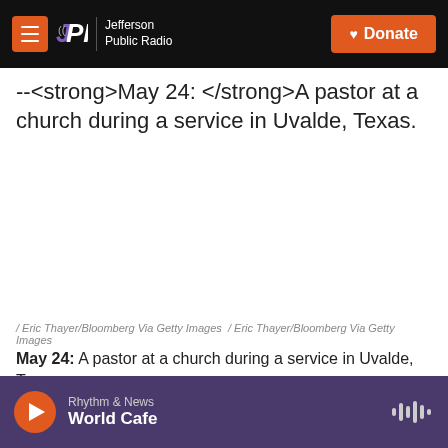JPR Jefferson Public Radio | Donate
--<strong>May 24: </strong>A pastor at a church during a service in Uvalde, Texas.
[Figure (photo): Blank/white image area for a photo of a pastor at a church during a service in Uvalde, Texas]
/ Eric Thayer/Bloomberg Via Getty Images / Eric Thayer/Bloomberg Via Getty Images
May 24: A pastor at a church during a service in Uvalde, Texas.
Rhythm & News World Cafe